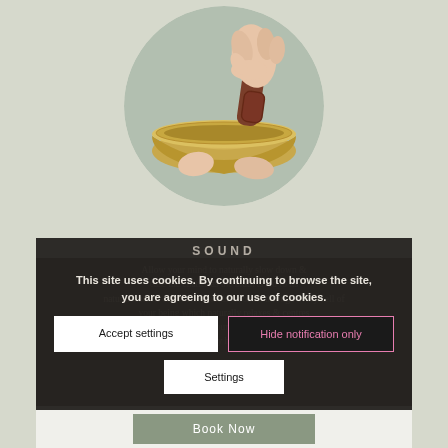[Figure (photo): A hand holding a wooden mallet/striker over a Tibetan singing bowl, photographed in a circular crop against a sage green background.]
SOUND
Allow your mind to naturally slow down & ease the chatter as the brain is led to its natural state of calm. The sounds resonate through every cell of your being which naturally relaxes & centres the mind. Raise your vibrations, deeply relaxing, profoundly healing and clearing.
This site uses cookies. By continuing to browse the site, you are agreeing to our use of cookies.
Accept settings
Hide notification only
Settings
Book Now